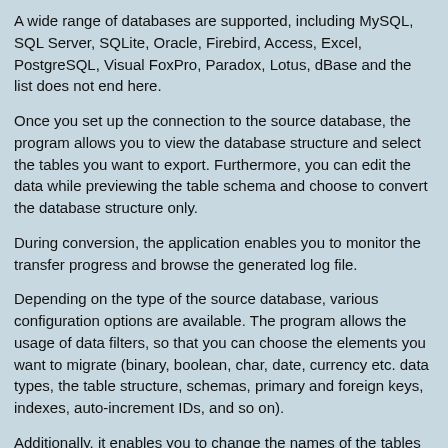A wide range of databases are supported, including MySQL, SQL Server, SQLite, Oracle, Firebird, Access, Excel, PostgreSQL, Visual FoxPro, Paradox, Lotus, dBase and the list does not end here.
Once you set up the connection to the source database, the program allows you to view the database structure and select the tables you want to export. Furthermore, you can edit the data while previewing the table schema and choose to convert the database structure only.
During conversion, the application enables you to monitor the transfer progress and browse the generated log file.
Depending on the type of the source database, various configuration options are available. The program allows the usage of data filters, so that you can choose the elements you want to migrate (binary, boolean, char, date, currency etc. data types, the table structure, schemas, primary and foreign keys, indexes, auto-increment IDs, and so on).
Additionally, it enables you to change the names of the tables or fields, configure the data overwriting options and comes with options for automatically converting character-sets.